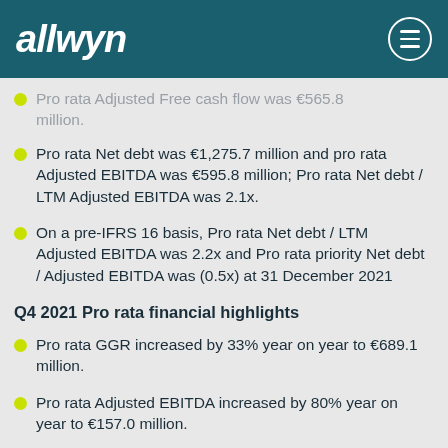allwyn
Pro rata Adjusted Free cash flow was €565.8 million.
Pro rata Net debt was €1,275.7 million and pro rata Adjusted EBITDA was €595.8 million; Pro rata Net debt / LTM Adjusted EBITDA was 2.1x.
On a pre-IFRS 16 basis, Pro rata Net debt / LTM Adjusted EBITDA was 2.2x and Pro rata priority Net debt / Adjusted EBITDA was (0.5x) at 31 December 2021
Q4 2021 Pro rata financial highlights
Pro rata GGR increased by 33% year on year to €689.1 million.
Pro rata Adjusted EBITDA increased by 80% year on year to €157.0 million.